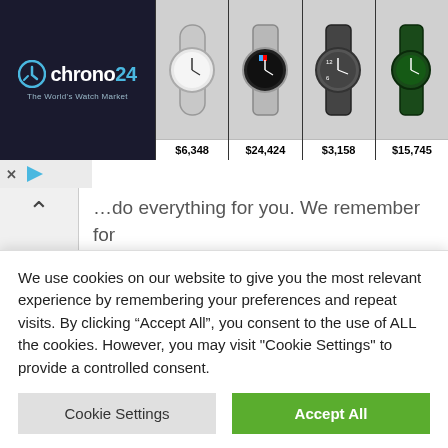[Figure (screenshot): Chrono24 advertisement banner showing watch marketplace logo on dark background with four luxury watch photos and prices: $6,348, $24,424, $3,158, $15,745]
...do everything for you. We remember for last, it's simple and they'll assist you get your stuff likely but as significantly as an insurance coverage company, those are sort of the structural matters you could want so usually check out with your section of insurance policy and see what is needed.

I outlined just before that profits experience is required but even nevertheless you don't have precise expertise...
We use cookies on our website to give you the most relevant experience by remembering your preferences and repeat visits. By clicking “Accept All”, you consent to the use of ALL the cookies. However, you may visit "Cookie Settings" to provide a controlled consent.